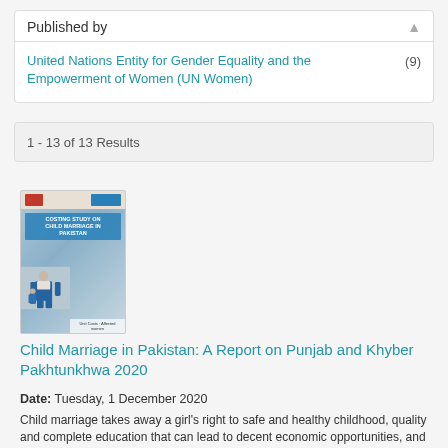Published by
United Nations Entity for Gender Equality and the Empowerment of Women (UN Women) (9)
1 - 13 of 13 Results
[Figure (photo): Book cover of 'Child Marriage in Pakistan: A Report on Punjab and Khyber Pakhtunkhwa 2020' showing a girl in blue traditional dress against a grey background]
Child Marriage in Pakistan: A Report on Punjab and Khyber Pakhtunkhwa 2020
Date: Tuesday, 1 December 2020
Child marriage takes away a girl's right to safe and healthy childhood, quality and complete education that can lead to decent economic opportunities, and social and political empowerment. Pakistan has the 6th highest number of girls married before the